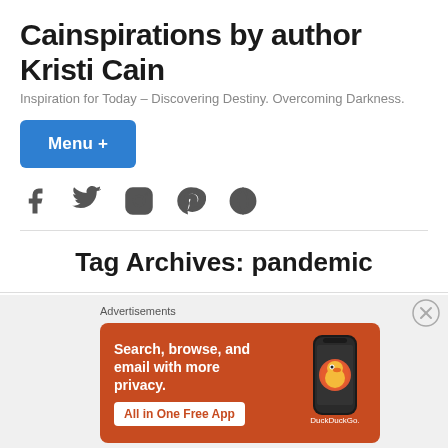Cainspirations by author Kristi Cain
Inspiration for Today – Discovering Destiny. Overcoming Darkness.
Menu +
[Figure (other): Social media icons: Facebook, Twitter, Instagram, Pinterest, WordPress]
Tag Archives: pandemic
Advertisements
[Figure (screenshot): DuckDuckGo advertisement banner with orange background showing 'Search, browse, and email with more privacy. All in One Free App' with DuckDuckGo logo and phone image]